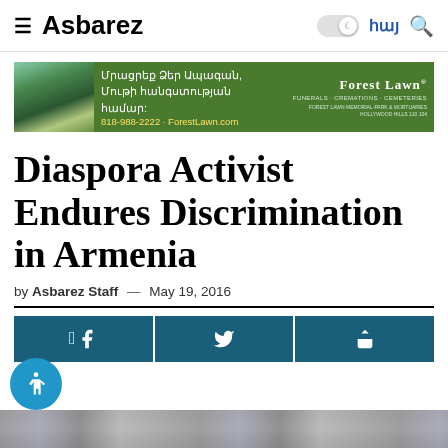Asbarez
[Figure (infographic): Forest Lawn advertisement banner with Armenian text: Մրացրեք Ձեր Ապագան, Մութի հանզստության համար: 818-988-2222 · ForestLawn.com — Forest Lawn Funerals Cremations Cemeteries]
Diaspora Activist Endures Discrimination in Armenia
by Asbarez Staff — May 19, 2016
[Figure (infographic): Social share buttons row: Facebook, Twitter, Share icons on dark teal background]